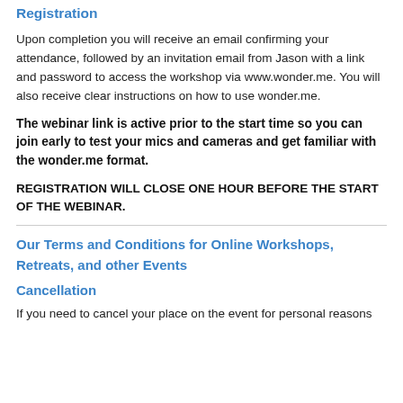Registration
Upon completion you will receive an email confirming your attendance, followed by an invitation email from Jason with a link and password to access the workshop via www.wonder.me. You will also receive clear instructions on how to use wonder.me.
The webinar link is active prior to the start time so you can join early to test your mics and cameras and get familiar with the wonder.me format.
REGISTRATION WILL CLOSE ONE HOUR BEFORE THE START OF THE WEBINAR.
Our Terms and Conditions for Online Workshops, Retreats, and other Events
Cancellation
If you need to cancel your place on the event for personal reasons